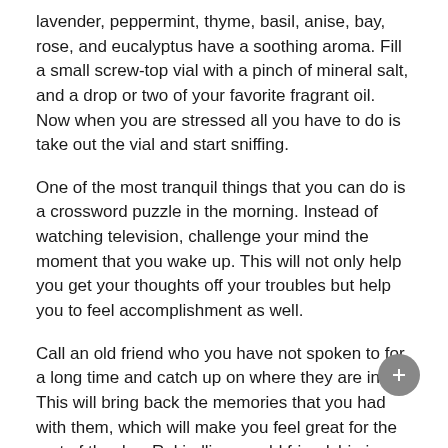lavender, peppermint, thyme, basil, anise, bay, rose, and eucalyptus have a soothing aroma. Fill a small screw-top vial with a pinch of mineral salt, and a drop or two of your favorite fragrant oil. Now when you are stressed all you have to do is take out the vial and start sniffing.
One of the most tranquil things that you can do is a crossword puzzle in the morning. Instead of watching television, challenge your mind the moment that you wake up. This will not only help you get your thoughts off your troubles but help you to feel accomplishment as well.
Call an old friend who you have not spoken to for a long time and catch up on where they are in life. This will bring back the memories that you had with them, which will make you feel great for the rest of the day. Rekindling an old friendship is a great way to eliminate stress.
Admit your stress. Each of us have our own stress signal